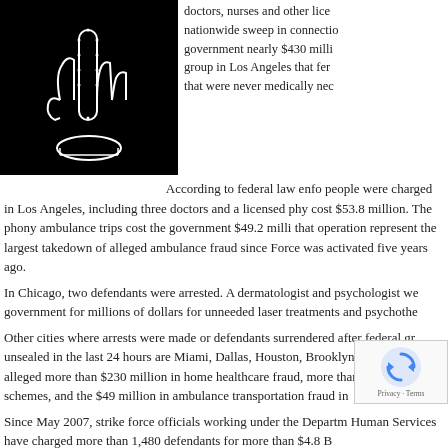[Figure (photo): Black background image showing an outline of a pointing hand cursor made of white dots/lights]
doctors, nurses and other lice nationwide sweep in connectio government nearly $430 milli group in Los Angeles that fer that were never medically nec
According to federal law enfo people were charged in Los Angeles, including three doctors and a licensed phy cost $53.8 million. The phony ambulance trips cost the government $49.2 milli that operation represent the largest takedown of alleged ambulance fraud since Force was activated five years ago.
In Chicago, two defendants were arrested. A dermatologist and psychologist we government for millions of dollars for unneeded laser treatments and psychothe
Other cities where arrests were made or defendants surrendered after federal gr unsealed in the last 24 hours are Miami, Dallas, Houston, Brooklyn and Baton R alleged more than $230 million in home healthcare fraud, more than $100 milli schemes, and the $49 million in ambulance transportation fraud in
Since May 2007, strike force officials working under the Departm Human Services have charged more than 1,480 defendants for more than $4.8 B